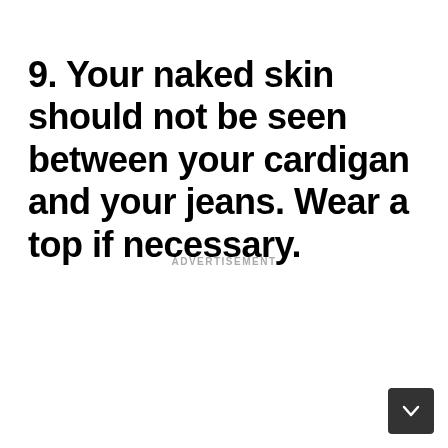9. Your naked skin should not be seen between your cardigan and your jeans. Wear a top if necessary.
ADVERTISEMENT
[Figure (other): Dark rounded square button with a downward chevron arrow icon in white, positioned at bottom-right corner]